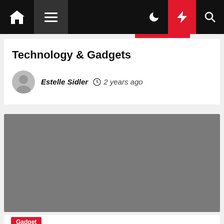Navigation bar with home, menu, dark mode, flash, and search icons
Technology & Gadgets
Estelle Sidler  2 years ago
[Figure (photo): Featured article image placeholder (gray rectangle)]
Gadget